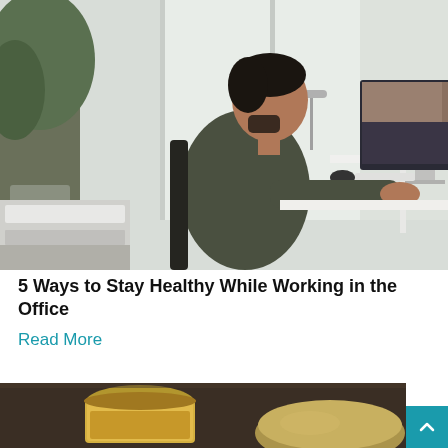[Figure (photo): A man sitting at a white desk in a bright home office with large windows, plants, working on an iMac computer. The room has bookshelves, a printer, and natural light.]
5 Ways to Stay Healthy While Working in the Office
Read More
[Figure (photo): A close-up photo showing a glass jar of honey or tea and what appears to be a round object, on a dark wooden surface. Partially visible.]